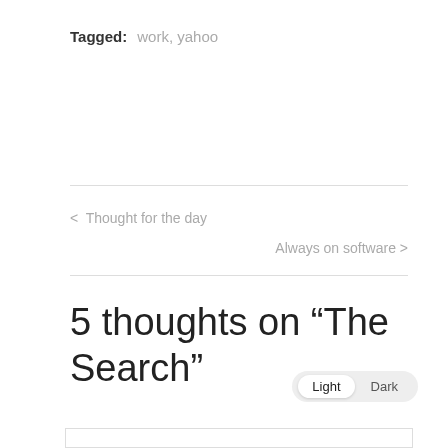Tagged: work, yahoo
< Thought for the day
Always on software >
5 thoughts on “The Search”